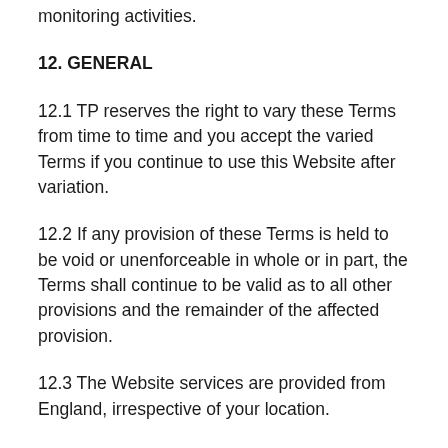monitoring activities.
12. GENERAL
12.1 TP reserves the right to vary these Terms from time to time and you accept the varied Terms if you continue to use this Website after variation.
12.2 If any provision of these Terms is held to be void or unenforceable in whole or in part, the Terms shall continue to be valid as to all other provisions and the remainder of the affected provision.
12.3 The Website services are provided from England, irrespective of your location.
12.4 None of the provisions of these Terms are intended to or will operate to confer any benefit